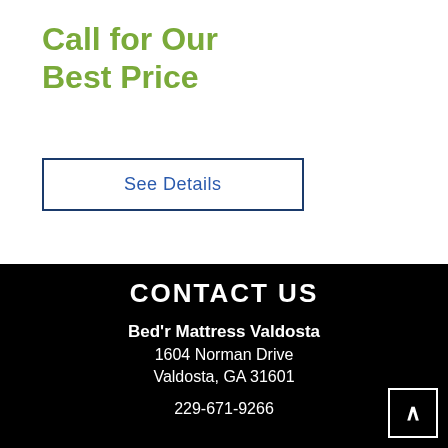Call for Our Best Price
See Details
CONTACT US
Bed'r Mattress Valdosta
1604 Norman Drive
Valdosta, GA 31601
229-671-9266